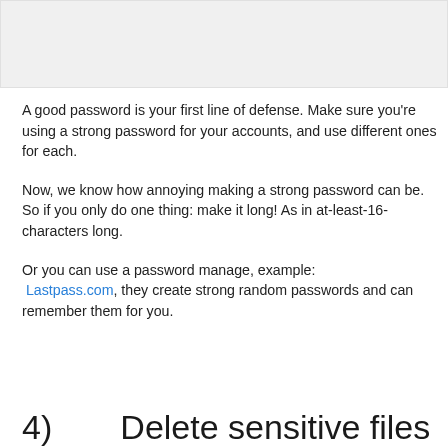[Figure (other): Gray box image placeholder at the top of the page]
A good password is your first line of defense. Make sure you're using a strong password for your accounts, and use different ones for each.
Now, we know how annoying making a strong password can be. So if you only do one thing: make it long! As in at-least-16-characters long.
Or you can use a password manage, example:
 Lastpass.com, they create strong random passwords and can remember them for you.
4)	Delete sensitive files